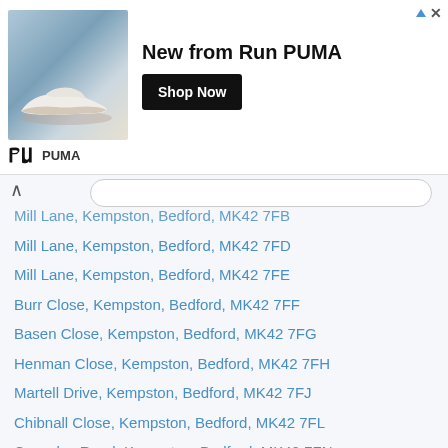[Figure (illustration): PUMA advertisement banner showing a white running shoe, text 'New from Run PUMA', Shop Now button, and PUMA logo]
Mill Lane, Kempston, Bedford, MK42 7FB
Mill Lane, Kempston, Bedford, MK42 7FD
Mill Lane, Kempston, Bedford, MK42 7FE
Burr Close, Kempston, Bedford, MK42 7FF
Basen Close, Kempston, Bedford, MK42 7FG
Henman Close, Kempston, Bedford, MK42 7FH
Martell Drive, Kempston, Bedford, MK42 7FJ
Chibnall Close, Kempston, Bedford, MK42 7FL
Crowsley Road, Kempston, Bedford, MK42 7FN
Kempston, Bedford, MK42 7FP (No Longer In Use)
Hebbes Close, Kempston, Bedford, MK42 7FQ
Wilkinson Road, Kempston, Bedford, MK42 7FR